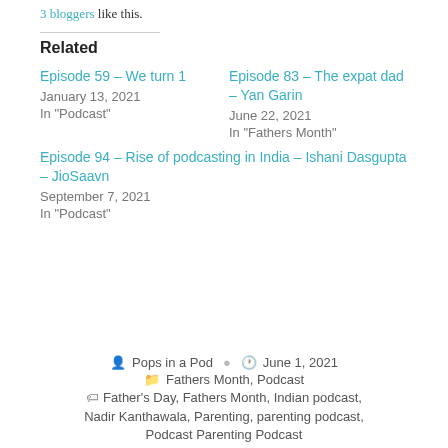3 bloggers like this.
Related
Episode 59 – We turn 1
January 13, 2021
In "Podcast"
Episode 83 – The expat dad – Yan Garin
June 22, 2021
In "Fathers Month"
Episode 94 – Rise of podcasting in India – Ishani Dasgupta – JioSaavn
September 7, 2021
In "Podcast"
Author: Pops in a Pod  Date: June 1, 2021  Categories: Fathers Month, Podcast  Tags: Father's Day, Fathers Month, Indian podcast, Nadir Kanthawala, Parenting, parenting podcast, Podcast Parenting Podcast